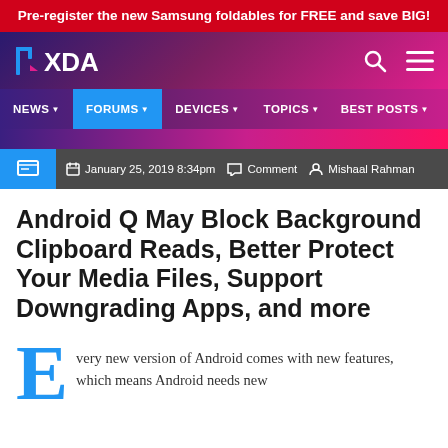Pre-register the new Samsung foldables for FREE and save BIG!
[Figure (logo): XDA Developers logo on purple-pink gradient navbar with search and hamburger icons]
NEWS  FORUMS  DEVICES  TOPICS  BEST POSTS
January 25, 2019 8:34pm  Comment  Mishaal Rahman
Android Q May Block Background Clipboard Reads, Better Protect Your Media Files, Support Downgrading Apps, and more
very new version of Android comes with new features, which means Android needs new